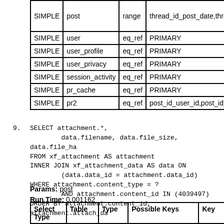| Select Type | Table | Type | Possible Keys |
| --- | --- | --- | --- |
| SIMPLE | post | range | thread_id_post_date,thread_... |
| SIMPLE | user | eq_ref | PRIMARY |
| SIMPLE | user_profile | eq_ref | PRIMARY |
| SIMPLE | user_privacy | eq_ref | PRIMARY |
| SIMPLE | session_activity | eq_ref | PRIMARY |
| SIMPLE | pr_cache | eq_ref | PRIMARY |
| SIMPLE | pr2 | eq_ref | post_id_user_id,post_id_rat... |
9. SELECT attachment.*, data.filename, data.file_size, data.file_has... FROM xf_attachment AS attachment INNER JOIN xf_attachment_data AS data ON (data.data_id = attachment.data_id) WHERE attachment.content_type = ? AND attachment.content_id IN (4039497) ORDER BY attachment.content_id, attachment.attach_da...
Params: post
Run Time: 0.001162
| Select Type | Table | Type | Possible Keys | Key |
| --- | --- | --- | --- | --- |